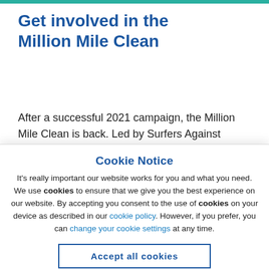Get involved in the Million Mile Clean
After a successful 2021 campaign, the Million Mile Clean is back. Led by Surfers Against
Cookie Notice
It's really important our website works for you and what you need. We use cookies to ensure that we give you the best experience on our website. By accepting you consent to the use of cookies on your device as described in our cookie policy. However, if you prefer, you can change your cookie settings at any time.
Accept all cookies